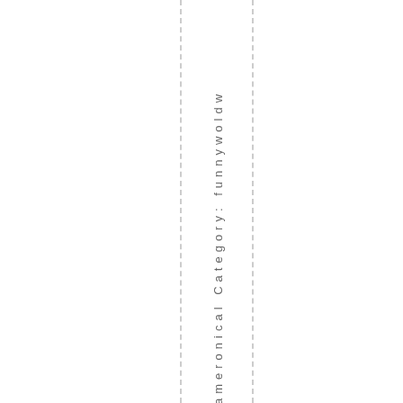ameronical Category: funnywoldw